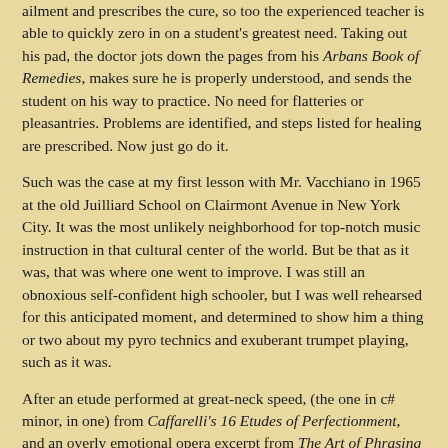ailment and prescribes the cure, so too the experienced teacher is able to quickly zero in on a student's greatest need. Taking out his pad, the doctor jots down the pages from his Arbans Book of Remedies, makes sure he is properly understood, and sends the student on his way to practice. No need for flatteries or pleasantries. Problems are identified, and steps listed for healing are prescribed. Now just go do it.
Such was the case at my first lesson with Mr. Vacchiano in 1965 at the old Juilliard School on Clairmont Avenue in New York City. It was the most unlikely neighborhood for top-notch music instruction in that cultural center of the world. But be that as it was, that was where one went to improve. I was still an obnoxious self-confident high schooler, but I was well rehearsed for this anticipated moment, and determined to show him a thing or two about my pyro technics and exuberant trumpet playing, such as it was.
After an etude performed at great-neck speed, (the one in c# minor, in one) from Caffarelli's 16 Etudes of Perfectionment, and an overly emotional opera excerpt from The Art of Phrasing in the rear of the Arban Book, Mr. Vacchiano